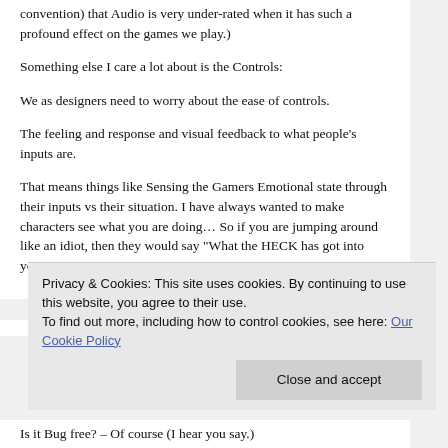convention) that Audio is very under-rated when it has such a profound effect on the games we play.)
Something else I care a lot about is the Controls:
We as designers need to worry about the ease of controls.
The feeling and response and visual feedback to what people's inputs are.
That means things like Sensing the Gamers Emotional state through their inputs vs their situation. I have always wanted to make characters see what you are doing... So if you are jumping around like an idiot, then they would say "What the HECK has got into you?"
Privacy & Cookies: This site uses cookies. By continuing to use this website, you agree to their use. To find out more, including how to control cookies, see here: Our Cookie Policy
Close and accept
Is it Bug free? – Of course (I hear you say.)